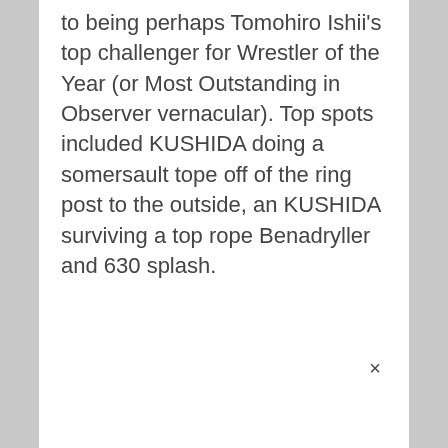to being perhaps Tomohiro Ishii's top challenger for Wrestler of the Year (or Most Outstanding in Observer vernacular). Top spots included KUSHIDA doing a somersault tope off of the ring post to the outside, an KUSHIDA surviving a top rope Benadryller and 630 splash.